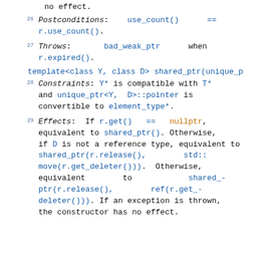no effect.
26  Postconditions: use_count() == r.use_count().
27  Throws: bad_weak_ptr when r.expired().
template<class Y, class D> shared_ptr(unique_p
28  Constraints: Y* is compatible with T* and unique_ptr<Y, D>::pointer is convertible to element_type*.
29  Effects: If r.get() == nullptr, equivalent to shared_ptr(). Otherwise, if D is not a reference type, equivalent to shared_ptr(r.release(), std::move(r.get_deleter())). Otherwise, equivalent to shared_ptr(r.release(), ref(r.get_deleter())). If an exception is thrown, the constructor has no effect.